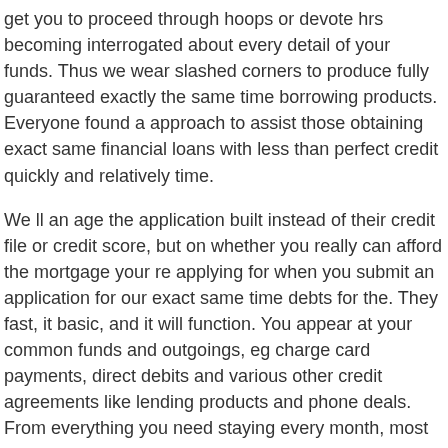get you to proceed through hoops or devote hrs becoming interrogated about every detail of your funds. Thus we wear slashed corners to produce fully guaranteed exactly the same time borrowing products. Everyone found a approach to assist those obtaining exact same financial loans with less than perfect credit quickly and relatively time.
We ll an age the application built instead of their credit file or credit score, but on whether you really can afford the mortgage your re applying for when you submit an application for our exact same time debts for the. They fast, it basic, and it will function. You appear at your common funds and outgoings, eg charge card payments, direct debits and various other credit agreements like lending products and phone deals. From everything you need staying every month, most of us ll determine whether you could easily spend revenue for obligations on the picked same opportunity loan.
Functioning in this way, we can provide time which same in the